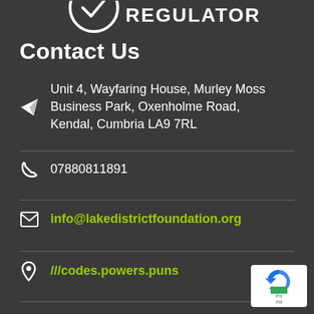[Figure (logo): Fundraising Regulator logo — circular logo with text REGULATOR partially visible at top]
Contact Us
Unit 4, Wayfaring House, Murley Moss Business Park, Oxenholme Road, Kendal, Cumbria LA9 7RL
07880811891
info@lakedistrictfoundation.org
///codes.powers.puns
[Figure (logo): reCAPTCHA badge / privacy terms badge in bottom right corner]